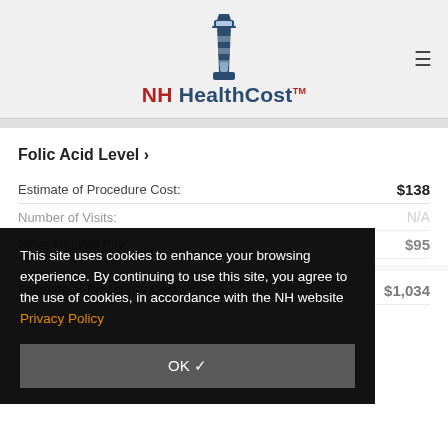[Figure (logo): NH HealthCost lighthouse logo with text]
Folic Acid Level >
Estimate of Procedure Cost: $138
Number of Visits: N/A
What You Will Pay: $95
This site uses cookies to enhance your browsing experience. By continuing to use this site, you agree to the use of cookies, in accordance with the NH website Privacy Policy
OK ✓
Estimate of Procedure Cost: $1,034